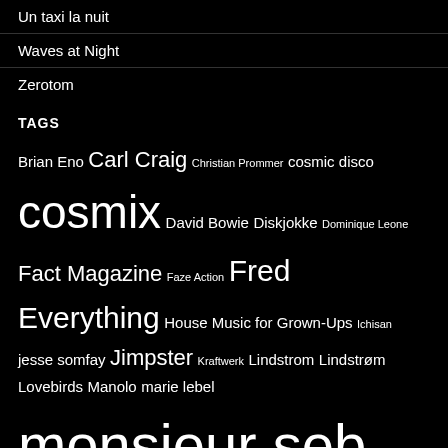Un taxi la nuit
Waves at Night
Zerotom
TAGS
Brian Eno Carl Craig Christian Prommer cosmic disco cosmix David Bowie Diskjokke Dominique Leone Fact Magazine Faze Action Fred Everything House Music for Grown-Ups Ichisan jesse somfay Jimpster Kraftwerk Lindstrom Lindstrøm Lovebirds Manolo marie lebel monsieur seb Mungolian Jetset Orchestral Manoeuvres in the Dark pezzner Picnik Electronik prins thomas Radio Slave Ralph Myerz Roberto Rodriguez Robert Owens Shit Robot Simple Minds Still Going Tensnake The Juan Maclean The Revenge Tiga Toby Tobias Todd Terje tweets twitter Underworld Yello